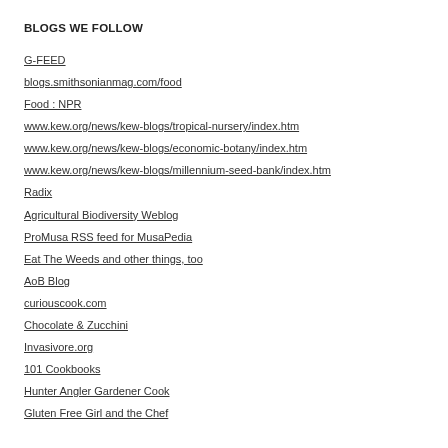BLOGS WE FOLLOW
G-FEED
blogs.smithsonianmag.com/food
Food : NPR
www.kew.org/news/kew-blogs/tropical-nursery/index.htm
www.kew.org/news/kew-blogs/economic-botany/index.htm
www.kew.org/news/kew-blogs/millennium-seed-bank/index.htm
Radix
Agricultural Biodiversity Weblog
ProMusa RSS feed for MusaPedia
Eat The Weeds and other things, too
AoB Blog
curiouscook.com
Chocolate & Zucchini
Invasivore.org
101 Cookbooks
Hunter Angler Gardener Cook
Gluten Free Girl and the Chef